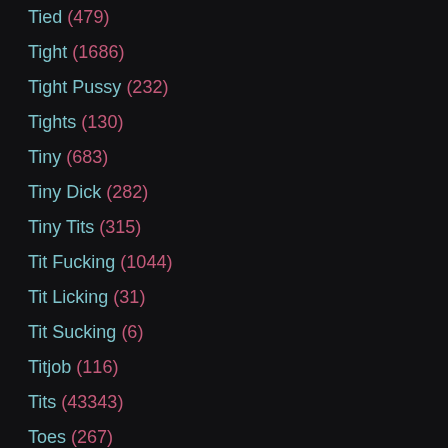Tied (479)
Tight (1686)
Tight Pussy (232)
Tights (130)
Tiny (683)
Tiny Dick (282)
Tiny Tits (315)
Tit Fucking (1044)
Tit Licking (31)
Tit Sucking (6)
Titjob (116)
Tits (43343)
Toes (267)
Toilet (160)
Tongue (181)
Toon (688)